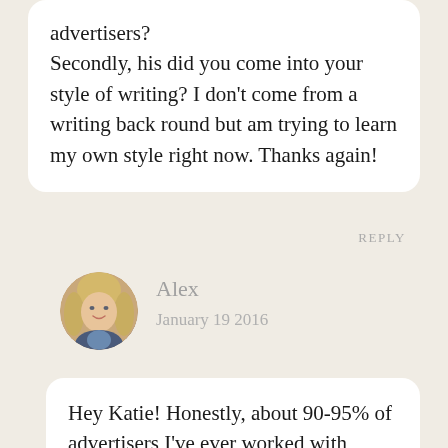advertisers?
Secondly, his did you come into your style of writing? I don't come from a writing back round but am trying to learn my own style right now. Thanks again!
REPLY
Alex
January 19 2016
Hey Katie! Honestly, about 90-95% of advertisers I've ever worked with approached me, and I'm not sure how they found me. A few have told me they found me on top blogger lists like the one